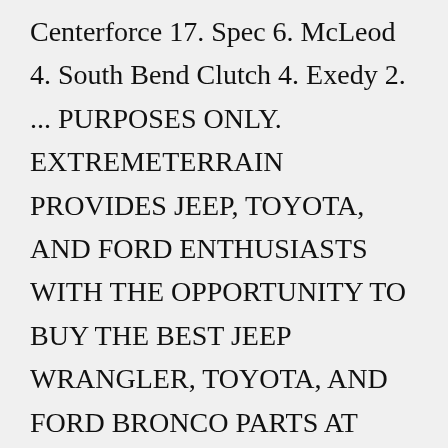Centerforce 17. Spec 6. McLeod 4. South Bend Clutch 4. Exedy 2. ... PURPOSES ONLY. EXTREMETERRAIN PROVIDES JEEP, TOYOTA, AND FORD ENTHUSIASTS WITH THE OPPORTUNITY TO BUY THE BEST JEEP WRANGLER, TOYOTA, AND FORD BRONCO PARTS AT ...Toyota 4Runner OEM parts will give you both peace of mind and total confidence for all those miles. Genuine Toyota 4Runner Parts